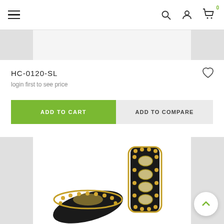Navigation bar with hamburger menu, search, account, and cart icons
[Figure (screenshot): Top partial product image thumbnail strip with grey left and right navigation arrows]
HC-0120-SL
login first to see price
ADD TO CART | ADD TO COMPARE
[Figure (photo): Bottom section showing two decorative jewellery hair clips/combs with gold beading and crystal embellishments on dark background, with left and right grey navigation panels]